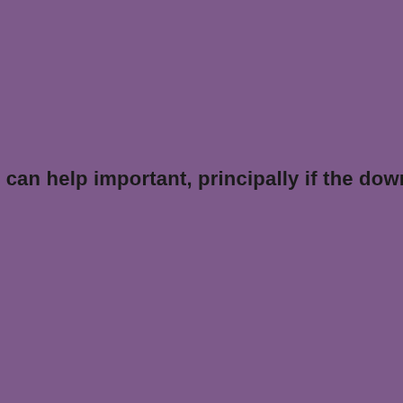. can help important, principally if the download under th